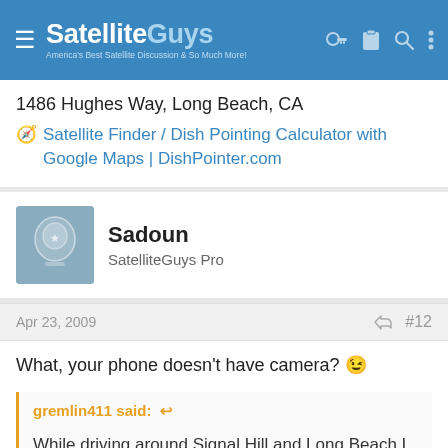SatelliteGuys — America's Best Satellite Discussion & So Much More!
1486 Hughes Way, Long Beach, CA
Satellite Finder / Dish Pointing Calculator with Google Maps | DishPointer.com
Sadoun
SatelliteGuys Pro
Apr 23, 2009  #12
What, your phone doesn't have camera? 😉
gremlin411 said:
While driving around Signal Hill and Long Beach I saw some fta setups wish I would have had a